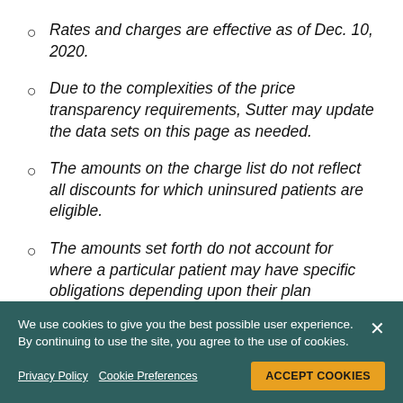Rates and charges are effective as of Dec. 10, 2020.
Due to the complexities of the price transparency requirements, Sutter may update the data sets on this page as needed.
The amounts on the charge list do not reflect all discounts for which uninsured patients are eligible.
The amounts set forth do not account for where a particular patient may have specific obligations depending upon their plan structure or where they may be in their deductible.
We use cookies to give you the best possible user experience. By continuing to use the site, you agree to the use of cookies.
Privacy Policy  Cookie Preferences  ACCEPT COOKIES